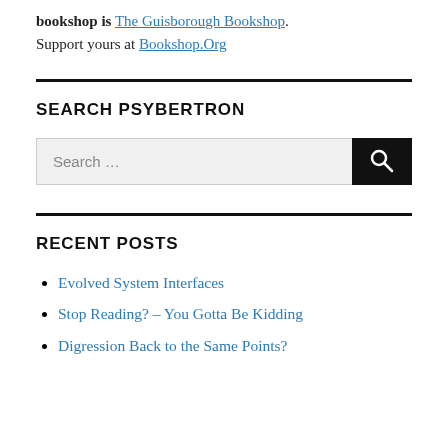bookshop is The Guisborough Bookshop. Support yours at Bookshop.Org
SEARCH PSYBERTRON
[Figure (other): Search input box with placeholder text 'Search ...' and a black search button with magnifying glass icon]
RECENT POSTS
Evolved System Interfaces
Stop Reading? – You Gotta Be Kidding
Digression Back to the Same Points?